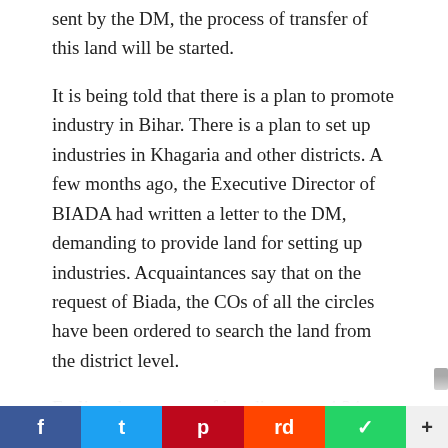sent by the DM, the process of transfer of this land will be started.
It is being told that there is a plan to promote industry in Bihar. There is a plan to set up industries in Khagaria and other districts. A few months ago, the Executive Director of BIADA had written a letter to the DM, demanding to provide land for setting up industries. Acquaintances say that on the request of Biada, the COs of all the circles have been ordered to search the land from the district level.
Earlier, the process of handing over 4.34 acres of government land to Vidya was initiated at Devtha Mauja in Gogri. A proposal for 100 acres of land has been sent to the state level at Solar Mauja in Parbatta. After getting the green signal from there, the process of transferring the land to BIADA will be started.
It would not be appropriate to describe Khagaria as a non-industrialized district. Because there is no big factory in this district. People who go to metropolitan cities like Delhi, Mumb...
[Figure (infographic): Social media share bar with Facebook (blue), Twitter (light blue), Pinterest (red), Reddit (orange), WhatsApp (green), and More (+) buttons]